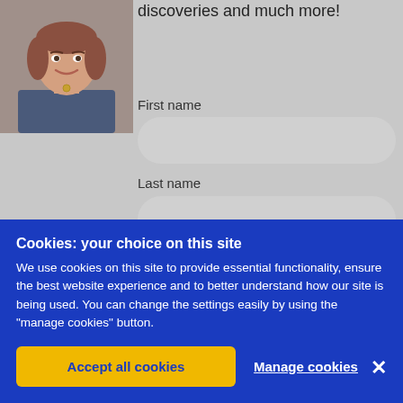[Figure (photo): Partial screenshot of a website showing a woman's headshot photo, form fields for First name and Last name, and a partially visible red quote text starting with 'I wanted']
discoveries and much more!
First name
Last name
"I wanted
Cookies: your choice on this site
We use cookies on this site to provide essential functionality, ensure the best website experience and to better understand how our site is being used. You can change the settings easily by using the "manage cookies" button.
Accept all cookies
Manage cookies